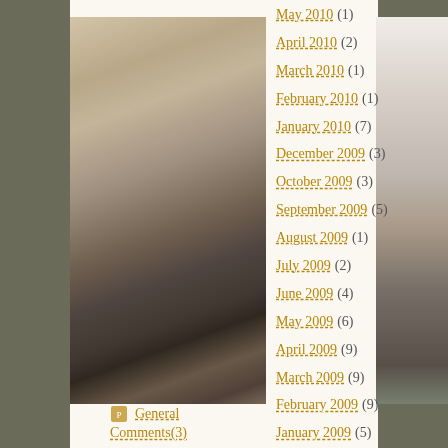[Figure (photo): Photo of a room interior, appears to show a bed or couch with gray bedding and some objects on the floor, warm tones]
[Figure (photo): Partial photo on the right side showing what appears to be a cat or animal lying on a surface, cropped]
May 2010 (1)
April 2010 (2)
March 2010 (1)
February 2010 (1)
January 2010 (7)
December 2009 (3)
October 2009 (3)
September 2009 (5)
August 2009 (1)
July 2009 (2)
June 2009 (4)
May 2009 (6)
April 2009 (9)
March 2009 (9)
February 2009 (9)
January 2009 (5)
December 2008 (7)
General Comments (3)